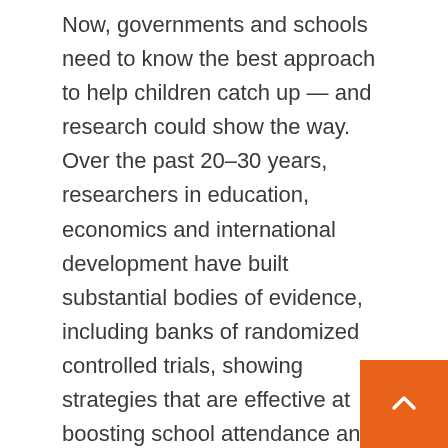Now, governments and schools need to know the best approach to help children catch up — and research could show the way. Over the past 20–30 years, researchers in education, economics and international development have built substantial bodies of evidence, including banks of randomized controlled trials, showing strategies that are effective at boosting school attendance and learning. They reveal, for example, that tutoring is one of the most cost-effective ways to help children to make up lost ground. And some countries are drawing on this evidence in their COVID-19 responses, putting a focus on tutoring and other programmes that educational studies have shown to be effective.

But experts point to a number of concerns. The true extent of learning losses in the pandemic is not yet